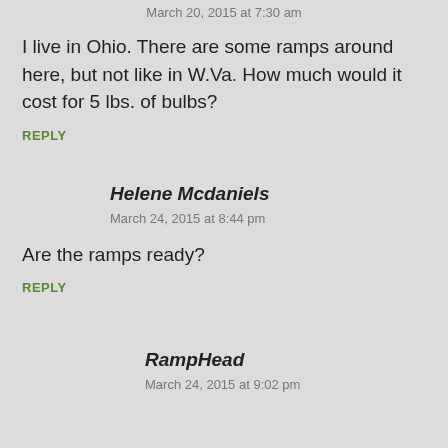March 20, 2015 at 7:30 am
I live in Ohio. There are some ramps around here, but not like in W.Va. How much would it cost for 5 lbs. of bulbs?
REPLY
Helene Mcdaniels
March 24, 2015 at 8:44 pm
Are the ramps ready?
REPLY
RampHead
March 24, 2015 at 9:02 pm